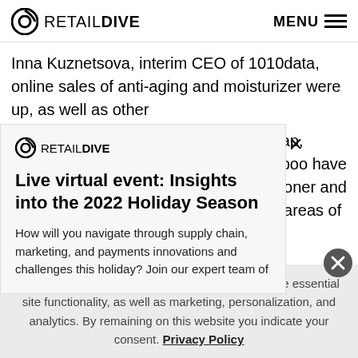RETAIL DIVE | MENU
Inna Kuznetsova, interim CEO of 1010data, online sales of anti-aging and moisturizer were up, as well as other
oap, npoo have itioner and ll areas of
[Figure (screenshot): Retail Dive modal popup with logo and close X button, title 'Live virtual event: Insights into the 2022 Holiday Season', and body text about supply chain, marketing, and payments innovations]
Live virtual event: Insights into the 2022 Holiday Season
How will you navigate through supply chain, marketing, and payments innovations and challenges this holiday? Join our expert team of
use and
This website stores data such as cookies to enable essential site functionality, as well as marketing, personalization, and analytics. By remaining on this website you indicate your consent. Privacy Policy